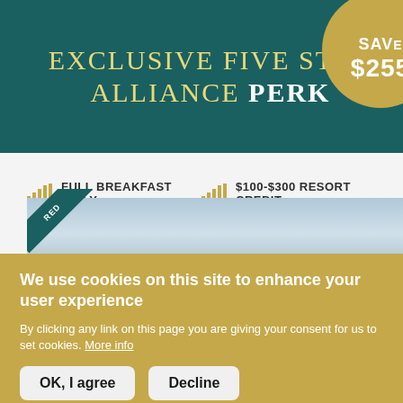EXCLUSIVE FIVE STAR ALLIANCE PERK
FULL BREAKFAST DAILY
$100-$300 RESORT CREDIT
VIP STATUS
UPGRADE
EARLY CHECK-IN
LATE CHECK-OUT
LEARN MORE ›
[Figure (photo): Partial hotel/resort photo strip with teal ribbon badge reading FEATURED]
We use cookies on this site to enhance your user experience
By clicking any link on this page you are giving your consent for us to set cookies. More info
OK, I agree | Decline